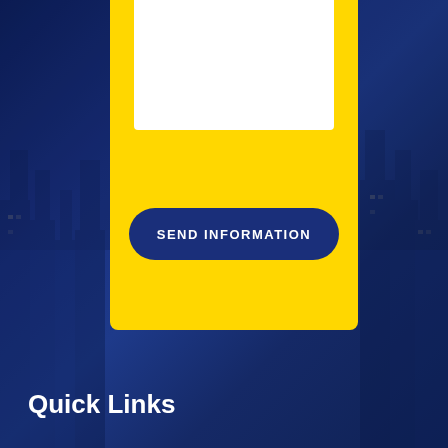[Figure (infographic): City skyline background with dark navy blue overlay. A yellow card/panel is centered at the top of the image containing a white input field area at the top and a navy blue 'SEND INFORMATION' button with rounded corners. Below the card is a dark navy blue section.]
SEND INFORMATION
Quick Links